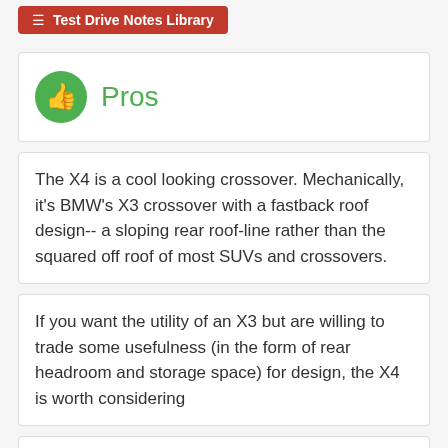Test Drive Notes Library
Pros
The X4 is a cool looking crossover. Mechanically, it's BMW's X3 crossover with a fastback roof design-- a sloping rear roof-line rather than the squared off roof of most SUVs and crossovers.
If you want the utility of an X3 but are willing to trade some usefulness (in the form of rear headroom and storage space) for design, the X4 is worth considering
We drove the X4 2.8i, which has a two-liter,